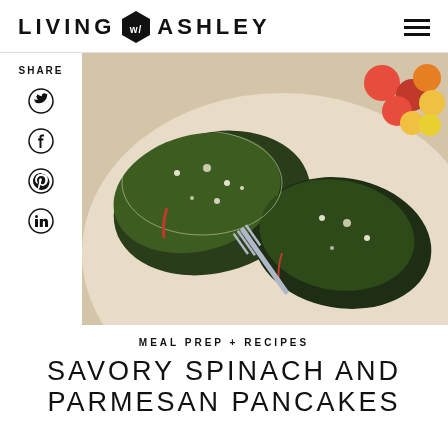LIVING W/ ASHLEY
SHARE
[Figure (photo): Food photo showing savory spinach and parmesan pancakes on a plate with a fork and cherry tomatoes]
MEAL PREP + RECIPES
SAVORY SPINACH AND PARMESAN PANCAKES